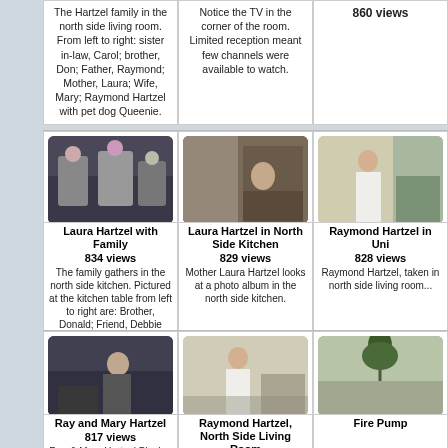The Hartzel family in the north side living room. From left to right: sister in-law, Carol; brother, Don; Father, Raymond; Mother, Laura; Wife, Mary; Raymond Hartzel with pet dog Queenie.
Notice the TV in the corner of the room. Limited reception meant few channels were available to watch.
860 views
[Figure (photo): Laura Hartzel with Family - people gathered around kitchen table]
[Figure (photo): Laura Hartzel in North Side Kitchen - woman looking at photo album]
[Figure (photo): Raymond Hartzel in Uniform in north side living room]
Laura Hartzel with Family
834 views
The family gathers in the north side kitchen. Pictured at the kitchen table from left to right are: Brother, Donald; Friend, Debbie Fenkner; and Ray.
Laura Hartzel in North Side Kitchen
829 views
Mother Laura Hartzel looks at a photo album in the north side kitchen.
Raymond Hartzel in Uni...
828 views
Raymond Hartzel, taken in north side living room...
[Figure (photo): Ray and Mary Hartzel playing]
[Figure (photo): Raymond Hartzel, North Side Living Room - man in uniform]
[Figure (photo): Fire Pump - outdoor scene with tree]
Ray and Mary Hartzel
817 views
Ray & Mary Hartzel Playing
Raymond Hartzel, North Side Living Room
804 views
Raymond Hartzel in uniform...
Fire Pump